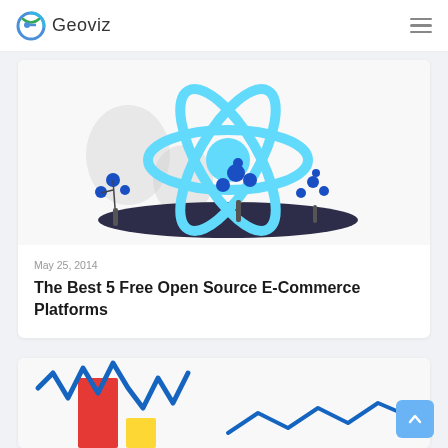Geoviz
[Figure (illustration): React logo illustration with teal atomic symbol and decorative blue dot trees on dark ground]
May 25, 2014
The Best 5 Free Open Source E-Commerce Platforms
[Figure (illustration): Partial illustration showing bar chart elements (red, yellow bars) with blue zigzag lines suggesting data visualization]